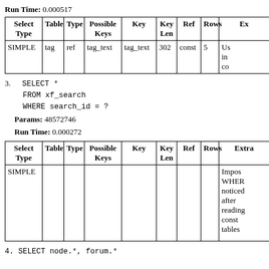Run Time: 0.000517
| Select Type | Table | Type | Possible Keys | Key | Key Len | Ref | Rows | Ex |
| --- | --- | --- | --- | --- | --- | --- | --- | --- |
| SIMPLE | tag | ref | tag_text | tag_text | 302 | const | 5 | Us in co |
3. SELECT *
    FROM xf_search
    WHERE search_id = ?
Params: 48572746
Run Time: 0.000272
| Select Type | Table | Type | Possible Keys | Key | Key Len | Ref | Rows | Extra |
| --- | --- | --- | --- | --- | --- | --- | --- | --- |
| SIMPLE |  |  |  |  |  |  |  | Impos WHERE noticed after reading const tables |
4. SELECT node.*, forum.*